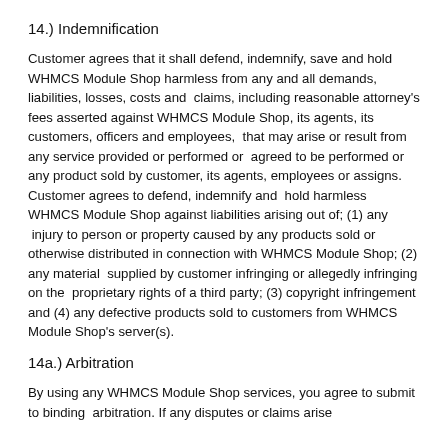14.) Indemnification
Customer agrees that it shall defend, indemnify, save and hold WHMCS Module Shop harmless from any and all demands, liabilities, losses, costs and  claims, including reasonable attorney's fees asserted against WHMCS Module Shop, its agents, its customers, officers and employees,  that may arise or result from any service provided or performed or  agreed to be performed or any product sold by customer, its agents, employees or assigns. Customer agrees to defend, indemnify and  hold harmless WHMCS Module Shop against liabilities arising out of; (1) any  injury to person or property caused by any products sold or otherwise distributed in connection with WHMCS Module Shop; (2) any material  supplied by customer infringing or allegedly infringing on the  proprietary rights of a third party; (3) copyright infringement and (4) any defective products sold to customers from WHMCS Module Shop's server(s).
14a.) Arbitration
By using any WHMCS Module Shop services, you agree to submit to binding  arbitration. If any disputes or claims arise